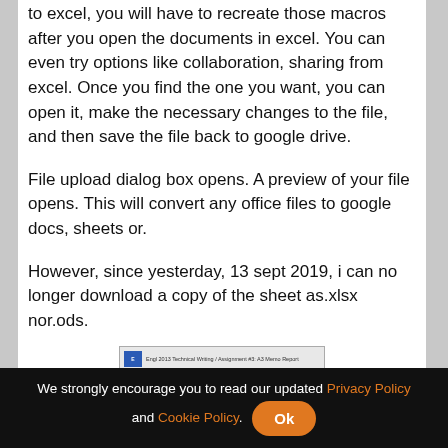to excel, you will have to recreate those macros after you open the documents in excel. You can even try options like collaboration, sharing from excel. Once you find the one you want, you can open it, make the necessary changes to the file, and then save the file back to google drive.
File upload dialog box opens. A preview of your file opens. This will convert any office files to google docs, sheets or.
However, since yesterday, 13 sept 2019, i can no longer download a copy of the sheet as.xlsx nor.ods.
[Figure (screenshot): Small thumbnail image with blue icon and text label for Assignment #3 A3 Memo Report]
Assignment #3: A3 Memo Report
We strongly encourage you to read our updated Privacy Policy and Cookie Policy. Ok